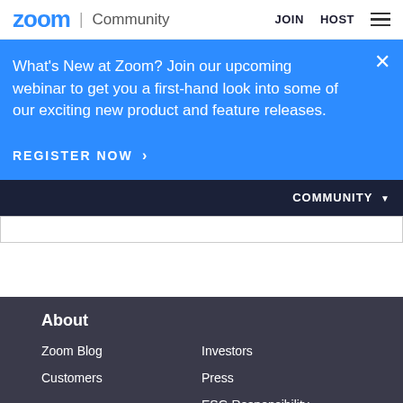zoom | Community   JOIN   HOST
What's New at Zoom? Join our upcoming webinar to get you a first-hand look into some of our exciting new product and feature releases.
REGISTER NOW >
COMMUNITY
About
Zoom Blog
Investors
Customers
Press
ESG Responsibility
Media Kit
Give Feedback